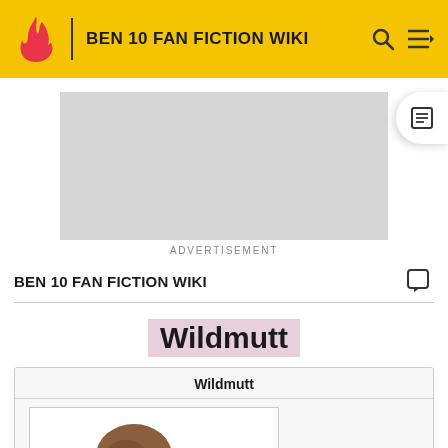BEN 10 FAN FICTION WIKI
[Figure (other): Advertisement placeholder (gray box)]
ADVERTISEMENT
BEN 10 FAN FICTION WIKI
Wildmutt
| Wildmutt |
| --- |
| [image of Wildmutt character] |
Wildmutt